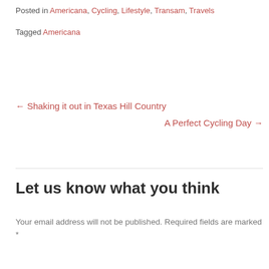Posted in Americana, Cycling, Lifestyle, Transam, Travels
Tagged Americana
← Shaking it out in Texas Hill Country
A Perfect Cycling Day →
Let us know what you think
Your email address will not be published. Required fields are marked *